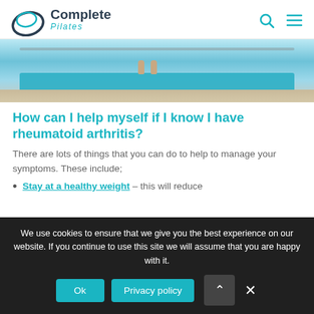Complete Pilates
[Figure (photo): Person standing on a blue Pilates mat with bare feet, hardwood floor visible, studio setting]
How can I help myself if I know I have rheumatoid arthritis?
There are lots of things that you can do to help to manage your symptoms. These include;
Stay at a healthy weight – this will reduce
We use cookies to ensure that we give you the best experience on our website. If you continue to use this site we will assume that you are happy with it.